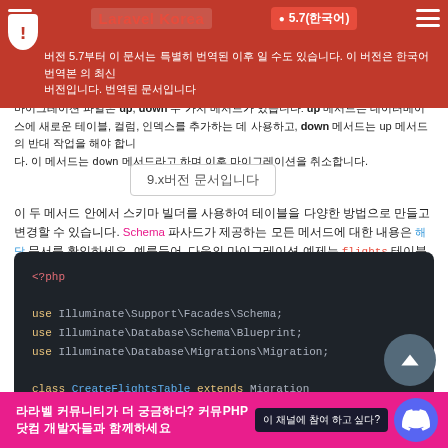Laravel Korea  ● 5.7(한국어)
버전 5.7부터 이 문서는 특별히 번역된 이후 일 수도 있습니다. 이 버전은 한국어 번역본 의 최신 버전입니다. 번역된 문서입니다
마이그레이션 파일은 up, down 두 가지 메서드가 있습니다: up 메서드는 데이터베이스에 새로운 테이블, 컬럼, 인덱스를 추가하는 데 사용하고, down 메서드는 up 메서드의 반대 작업을 해야 합니다.
9.x버전 문서입니다
이 두 메서드 안에서 스키마 빌더를 사용하여 테이블을 다양한 방법으로 만들고 변경할 수 있습니다. Schema 파사드가 제공하는 모든 메서드에 대한 내용은 해당 문서를 확인하세요. 예를들어, 다음의 마이그레이션 예제는 flights 테이블을 생성합니다:
[Figure (screenshot): PHP code block showing migration class CreateFlightsTable with use statements for Illuminate facades and class definition extending Migration with run the migrations docblock]
라라벨 커뮤니티가 더 궁금하다? 커뮤PHP닷컴 개발자들과 함께하세요